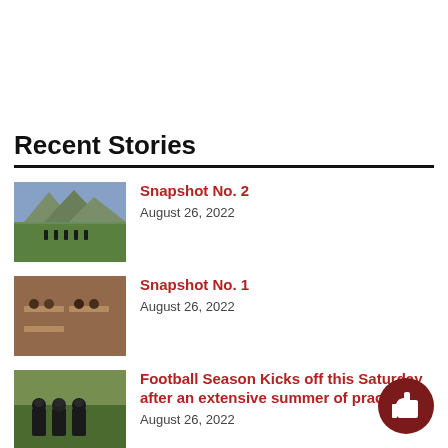Recent Stories
Snapshot No. 2 — August 26, 2022
Snapshot No. 1 — August 26, 2022
Football Season Kicks off this Saturday after an extensive summer of practice — August 26, 2022
The BTSD lights up the 2022-2023 school...